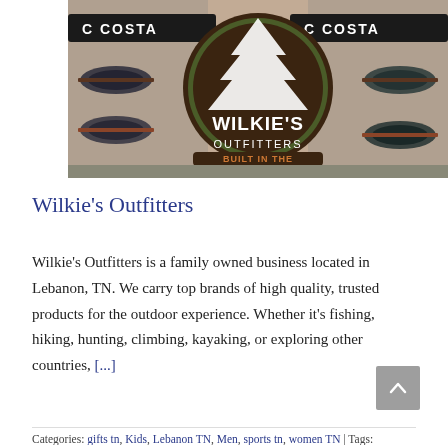[Figure (photo): Photo of a store display with Costa sunglasses rack and a circular Wilkie's Outfitters logo sign (green tree on brown background) with text 'BUILT IN THE' visible at the bottom]
Wilkie's Outfitters
Wilkie's Outfitters is a family owned business located in Lebanon, TN. We carry top brands of high quality, trusted products for the outdoor experience. Whether it's fishing, hiking, hunting, climbing, kayaking, or exploring other countries, [...]
Categories: gifts tn, Kids, Lebanon TN, Men, sports tn, women TN | Tags: